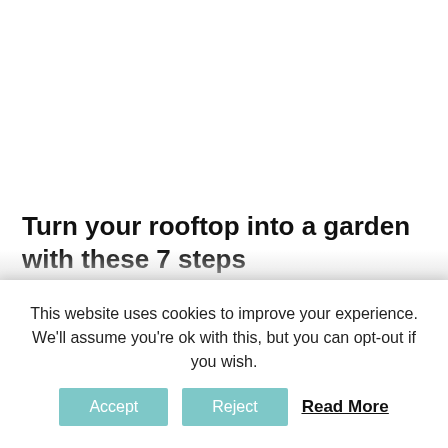Turn your rooftop into a garden with these 7 steps
House · July 24, 2018
This website uses cookies to improve your experience. We'll assume you're ok with this, but you can opt-out if you wish.